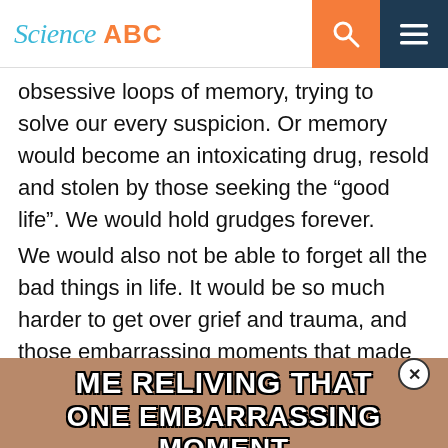Science ABC
obsessive loops of memory, trying to solve our every suspicion. Or memory would become an intoxicating drug, resold and stolen by those seeking the “good life”. We would hold grudges forever.
We would also not be able to forget all the bad things in life. It would be so much harder to get over grief and trauma, and those embarrassing moments that made us cringe at ourselves will forever stay with us.
[Figure (photo): Meme image with text: ME RELIVING THAT ONE EMBARRASSING MOMENT]